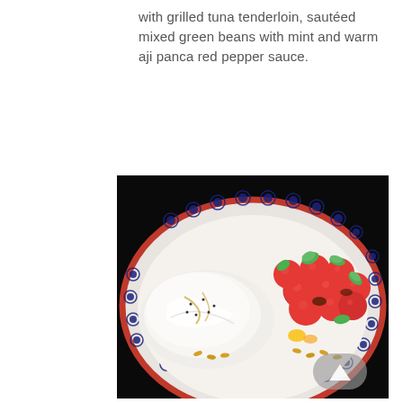with grilled tuna tenderloin, sautéed mixed green beans with mint and warm aji panca red pepper sauce.
[Figure (photo): A decorative blue and white patterned bowl with a red rim, set against a black background. The bowl contains fresh mozzarella drizzled with olive oil and black pepper on the left, and a pile of cherry tomatoes garnished with fresh basil leaves, pine nuts, and small yellow accents on the right. A semi-transparent back-to-top arrow button appears in the lower right corner of the image.]